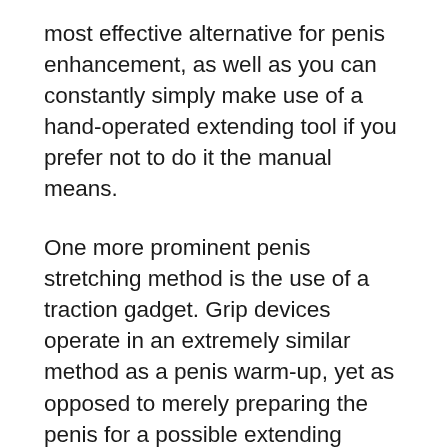most effective alternative for penis enhancement, as well as you can constantly simply make use of a hand-operated extending tool if you prefer not to do it the manual means.
One more prominent penis stretching method is the use of a traction gadget. Grip devices operate in an extremely similar method as a penis warm-up, yet as opposed to merely preparing the penis for a possible extending procedure, the traction tool really triggers mild damages to the corpus cavernosum. This harms the cells in the corpus cavernosum, to ensure that they can not expand back. The corpus cavernosum is the part of the penis which contains the chambers where the ligaments affix. Over